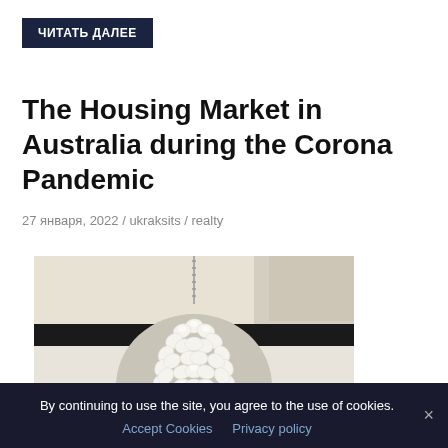ЧИТАТЬ ДАЛЕЕ
The Housing Market in Australia during the Corona Pandemic
27 января, 2022 / ukraksits / realty
[Figure (photo): A decorative chandelier with white flower-shaped crystal ornaments arranged in a spherical shape, hanging against a light background.]
By continuing to use the site, you agree to the use of cookies. Accept Cookies  Privacy policy